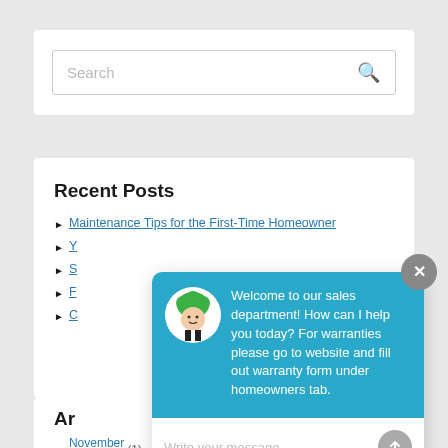[Figure (screenshot): Search input box with placeholder text 'Search' and a magnifying glass icon on the right]
Recent Posts
Maintenance Tips for the First-Time Homeowner
Y...
S...
F...
C...
[Figure (screenshot): Chat widget popup with avatar and message: 'Welcome to our sales department! How can I help you today? For warranties please go to website and fill out warranty form under homeowners tab.' with a text input 'Write your message...' at the bottom]
Ar
November 2021 (1)